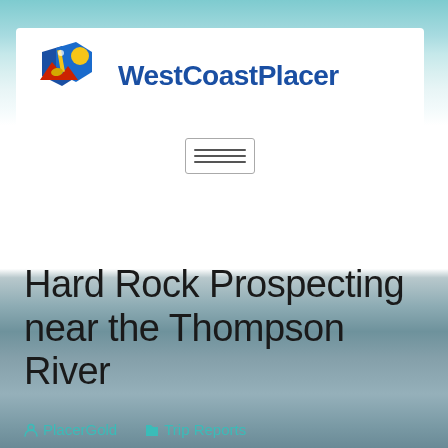[Figure (logo): WestCoastPlacer logo with mountain and shovel icon in blue, red, and gold colors next to bold blue text 'WestCoastPlacer']
[Figure (other): Hamburger menu icon button with three horizontal lines]
Hard Rock Prospecting near the Thompson River
PlacerGold   Trip Reports